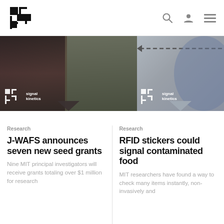[Figure (logo): MIT Media Lab angular step logo mark in black]
[Figure (screenshot): Banner with two panels: left shows people and compost bin with Signal Kinetics logo overlay; right shows a grey graphic panel with dashed arrow and Signal Kinetics logo overlay]
Research
J-WAFS announces seven new seed grants
Nine MIT principal investigators will receive grants totaling over $1 million for research
Research
RFID stickers could signal contaminated food
MIT researchers have found a way to check many items instantly, non-invasively and